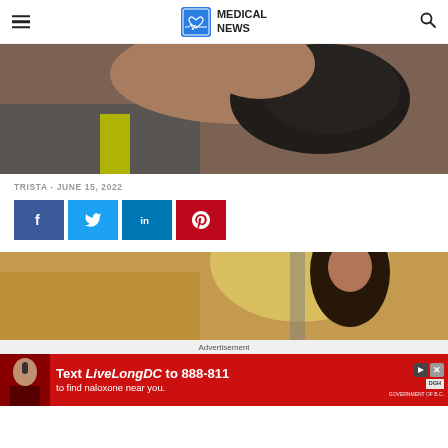MEDICAL NEWS
[Figure (photo): Close-up of a person holding a black device near their neck/ear, wearing athletic clothing with yellow accent]
TRISTA - JUNE 15, 2022
[Figure (infographic): Social media share buttons: Facebook (blue), Twitter (cyan), LinkedIn (dark blue), Pinterest (red)]
[Figure (photo): Woman with long dark hair outdoors, looking upward, bright sunlight background]
Advertisement
[Figure (photo): Advertisement banner: Text 'LiveLongDC to 888-811 to find naloxone near you.' on red background]